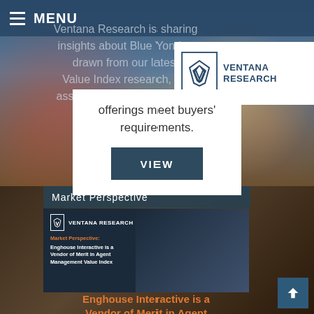MENU
[Figure (logo): Ventana Research logo with blue V-shaped checkmark icon and company name]
Ventana Research is sharing insights about Blue Yonder, drawn from our latest Value Index research, which assesses how well vendors' offerings meet buyers' requirements.
VIEW
Market Perspective
[Figure (screenshot): Market Perspective document cover: Enghouse Interactive is a Vendor of Merit in Agent Management Value Index, with Ventana Research logo and tech background image]
Enghouse Interactive is a Vendor of Merit in Agent